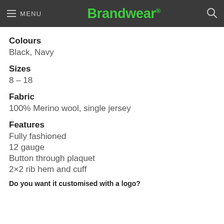MENU | Brandwear®
Colours
Black, Navy
Sizes
8 – 18
Fabric
100% Merino wool, single jersey
Features
Fully fashioned
12 gauge
Button through plaquet
2×2 rib hem and cuff
Do you want it customised with a logo?